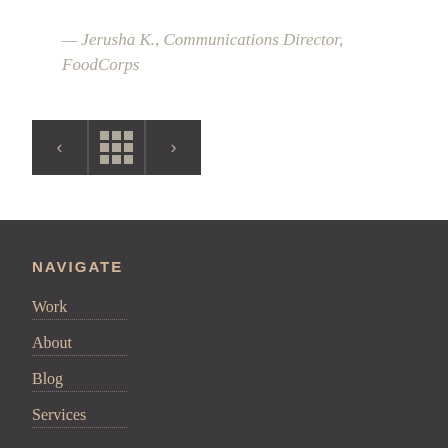— Jerusha K., Communications Director, FoodCorps
[Figure (other): Navigation buttons: left arrow, grid/home icon, right arrow — three dark square buttons]
NAVIGATE
Work
About
Blog
Services